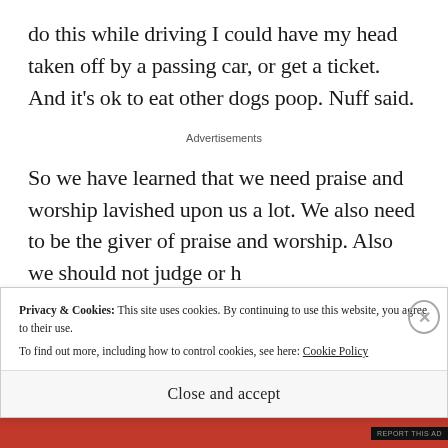do this while driving I could have my head taken off by a passing car, or get a ticket. And it's ok to eat other dogs poop. Nuff said.
Advertisements
So we have learned that we need praise and worship lavished upon us a lot. We also need to be the giver of praise and worship. Also we should not judge or h...
Privacy & Cookies: This site uses cookies. By continuing to use this website, you agree to their use. To find out more, including how to control cookies, see here: Cookie Policy
Close and accept